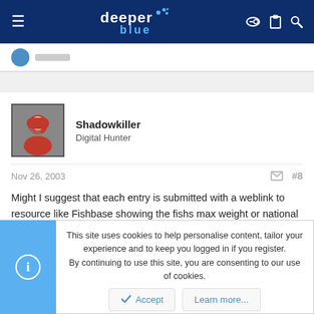[Figure (logo): DeeperBlue website header with hamburger menu, DeeperBlue logo in white and blue, and icons for key, clipboard, and search]
Shadowkiller
Digital Hunter
Nov 26, 2003  #8
Might I suggest that each entry is submitted with a weblink to resource like Fishbase showing the fishs max weight or national record? that way we can get the percentages right.
This site uses cookies to help personalise content, tailor your experience and to keep you logged in if you register.
By continuing to use this site, you are consenting to our use of cookies.
Accept  Learn more...